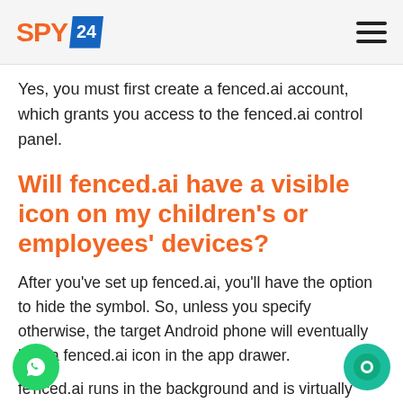SPY24 [logo] [hamburger menu]
Yes, you must first create a fenced.ai account, which grants you access to the fenced.ai control panel.
Will fenced.ai have a visible icon on my children's or employees' devices?
After you've set up fenced.ai, you'll have the option to hide the symbol. So, unless you specify otherwise, the target Android phone will eventually lack a fenced.ai icon in the app drawer.
fenced.ai runs in the background and is virtually undetectable.